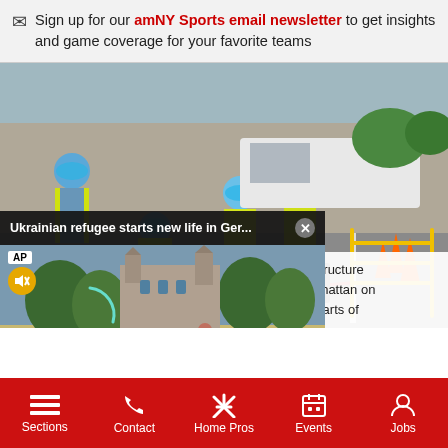Sign up for our amNY Sports email newsletter to get insights and game coverage for your favorite teams
[Figure (photo): Construction workers in blue hard hats and yellow safety vests working on street infrastructure in Manhattan. Orange traffic cones and yellow metal barriers visible on the road.]
[Figure (screenshot): Video overlay popup titled 'Ukrainian refugee starts new life in Ger...' with an AP video thumbnail showing a castle building and a person walking. Yellow mute button and AP badge visible, with a loading spinner arc.]
electrical infrastructure n Street in Manhattan on ver outage hit parts of
Sections  Contact  Home Pros  Events  Jobs